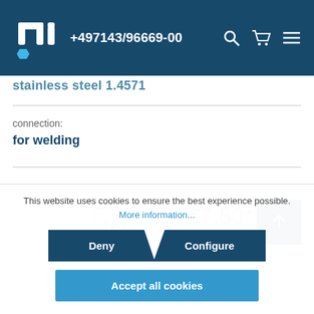+497143/96669-00
stainless steel 1.4571
connection:
for welding
1 pcs.
€7.50*
This website uses cookies to ensure the best experience possible.
More information...
Deny
Configure
Accept all cookies